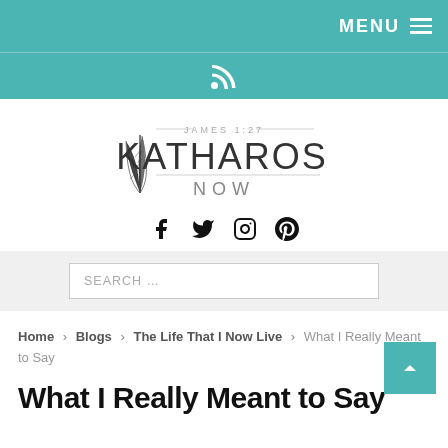MENU ☰
[Figure (logo): RSS feed icon in white on teal background]
[Figure (logo): Katharos Now logo with feather illustration and text JAMES 1:27 KATHAROS NOW]
[Figure (other): Social media icons: Facebook, Twitter, Instagram, Pinterest]
SEARCH …
Home > Blogs > The Life That I Now Live > What I Really Meant to Say
What I Really Meant to Say